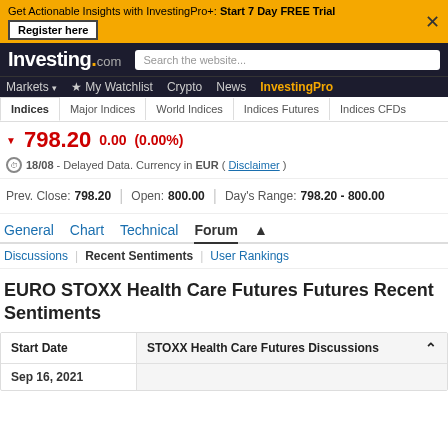Get Actionable Insights with InvestingPro+: Start 7 Day FREE Trial — Register here
Investing.com — Search the website...
Markets | My Watchlist | Crypto | News | InvestingPro
Indices | Major Indices | World Indices | Indices Futures | Indices CFDs
798.20  0.00  (0.00%)
18/08 - Delayed Data. Currency in EUR ( Disclaimer )
Prev. Close: 798.20 | Open: 800.00 | Day's Range: 798.20 - 800.00
General  Chart  Technical  Forum
Discussions | Recent Sentiments | User Rankings
EURO STOXX Health Care Futures Futures Recent Sentiments
| Start Date | STOXX Health Care Futures Discussions |
| --- | --- |
| Sep 16, 2021 |  |